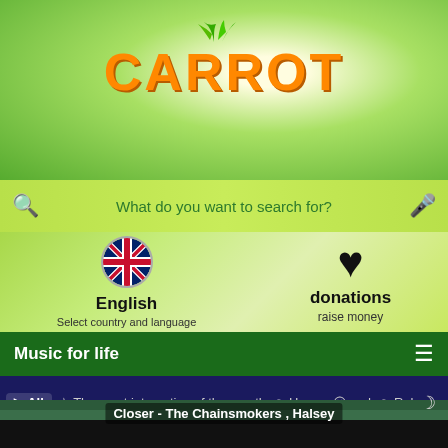CARROT
What do you want to search for?
English
Select country and language
donations
raise money
Music for life
▶ All  ☆ The most interactive of the month  ☺ Happy  ☹ sad  ☺ Relax
☺ Excited  👤 Artist express  📅 Release year  🎵 Genre
Closer - The Chainsmokers , Halsey